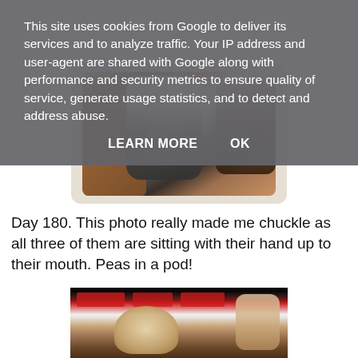[Figure (photo): Photo of three people sitting on a brown leather sofa, all with hand up to mouth, partially visible at top of page behind cookie overlay]
This site uses cookies from Google to deliver its services and to analyze traffic. Your IP address and user-agent are shared with Google along with performance and security metrics to ensure quality of service, generate usage statistics, and to detect and address abuse.
LEARN MORE   OK
Day 180. This photo really made me chuckle as all three of them are sitting with their hand up to their mouth. Peas in a pod!
[Figure (photo): Partial photo at bottom of page showing children with a red curtain background and light-colored wall]